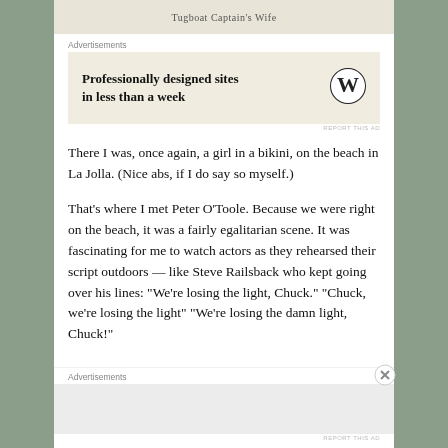[Figure (other): Partial image area at top showing text 'Tugboat Captain's Wife']
Advertisements
[Figure (other): WordPress advertisement: 'Professionally designed sites in less than a week' with WordPress logo]
REPORT THIS AD
There I was, once again, a girl in a bikini, on the beach in La Jolla. (Nice abs, if I do say so myself.)
That's where I met Peter O'Toole. Because we were right on the beach, it was a fairly egalitarian scene. It was fascinating for me to watch actors as they rehearsed their script outdoors — like Steve Railsback who kept going over his lines: "We're losing the light, Chuck." "Chuck, we're losing the light" "We're losing the damn light, Chuck!"
Advertisements
REPORT THIS AD